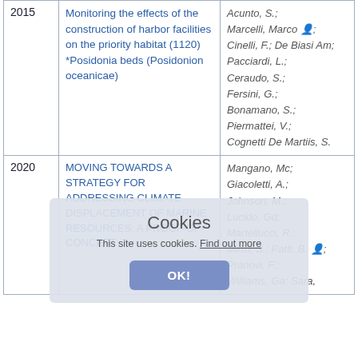| Year | Title | Authors |
| --- | --- | --- |
| 2015 | Monitoring the effects of the construction of harbor facilities on the priority habitat (1120) *Posidonia beds (Posidonion oceanicae) | Acunto, S.; Marcelli, Marco; Cinelli, F.; De Biasi Am; Pacciardi, L.; Ceraudo, S.; Fersini, G.; Bonamano, S.; Piermattei, V.; Cognetti De Martiis, S. |
| 2020 | MOVING TOWARDS A STRATEGY FOR ADDRESSING CLIMATE DISPLACEMENT OF MARINE RESOURCES: A PROOF-OF-CONCEPT | Mangano, Mc; Giacoletti, A.; Johnson, M.; Lucido, Gd; Martellucci, R.; Mirto, S.; Patti, B.; Pranovi, F.; Williams, Ga; Sara, |